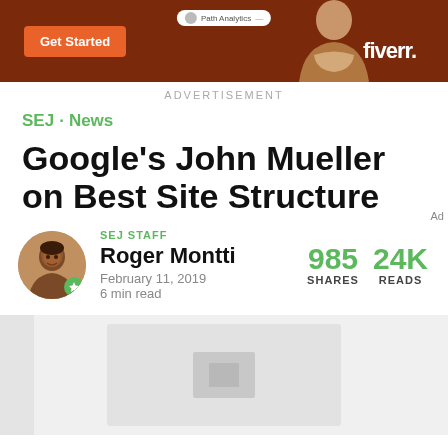[Figure (other): Fiverr advertisement banner with orange background, 'Get Started' button, person figure, and Fiverr logo]
ADVERTISEMENT
SEJ · News
Google's John Mueller on Best Site Structure
SEJ STAFF
Roger Montti
February 11, 2019
6 min read
985 SHARES   24K READS
[Figure (photo): Partial loading image placeholder at the bottom of the page]